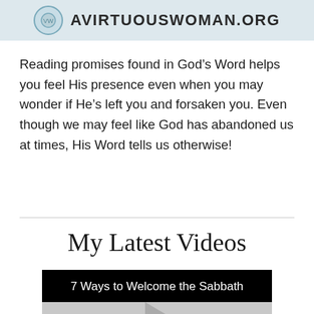[Figure (logo): A Virtuous Woman logo with circular icon and text AVIRTUOUSWOMAN.ORG on a light blue-grey banner]
Reading promises found in God’s Word helps you feel His presence even when you may wonder if He’s left you and forsaken you. Even though we may feel like God has abandoned us at times, His Word tells us otherwise!
My Latest Videos
[Figure (screenshot): Video thumbnail for '7 Ways to Welcome the Sabbath' with black title bar and grey player area with play button]